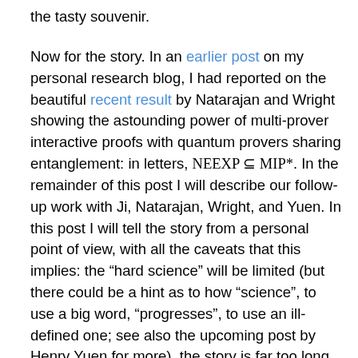the tasty souvenir.
Now for the story. In an earlier post on my personal research blog, I had reported on the beautiful recent result by Natarajan and Wright showing the astounding power of multi-prover interactive proofs with quantum provers sharing entanglement: in letters, NEEXP ⊆ MIP*. In the remainder of this post I will describe our follow-up work with Ji, Natarajan, Wright, and Yuen. In this post I will tell the story from a personal point of view, with all the caveats that this implies: the “hard science” will be limited (but there could be a hint as to how “science”, to use a big word, “progresses”, to use an ill-defined one; see also the upcoming post by Henry Yuen for more), the story is far too long, and it might be mostly of interest to me only. It’s a one-sided story, but that has to be. (In particular below I may at times attribute credit in the form “X had this idea”,